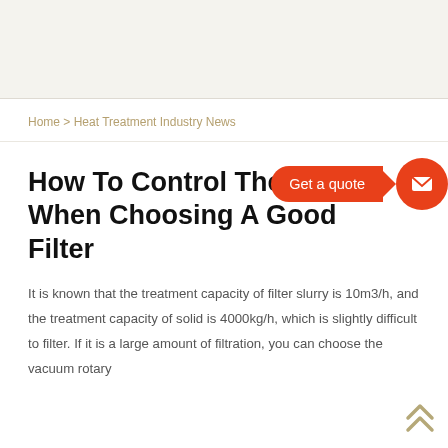Home > Heat Treatment Industry News
How To Control The Oil When Choosing A Good Filter
[Figure (infographic): Orange 'Get a quote' speech bubble with arrow pointing to orange circle with white envelope/mail icon]
It is known that the treatment capacity of filter slurry is 10m3/h, and the treatment capacity of solid is 4000kg/h, which is slightly difficult to filter. If it is a large amount of filtration, you can choose the vacuum rotary